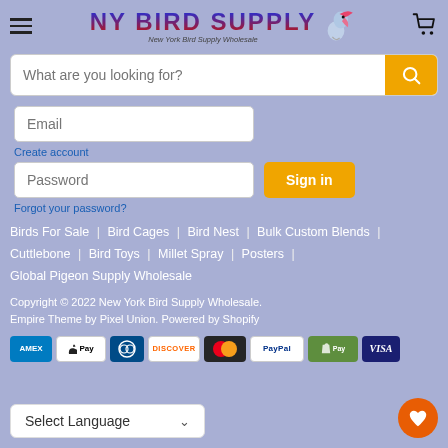[Figure (logo): NY Bird Supply logo with colorful text and bird graphic]
What are you looking for?
Email
Create account
Password
Sign in
Forgot your password?
Birds For Sale | Bird Cages | Bird Nest | Bulk Custom Blends | Cuttlebone | Bird Toys | Millet Spray | Posters | Global Pigeon Supply Wholesale
Copyright © 2022 New York Bird Supply Wholesale. Empire Theme by Pixel Union. Powered by Shopify
[Figure (infographic): Payment method icons: AMEX, Apple Pay, Diners, Discover, Mastercard, PayPal, Shopify Pay, Visa]